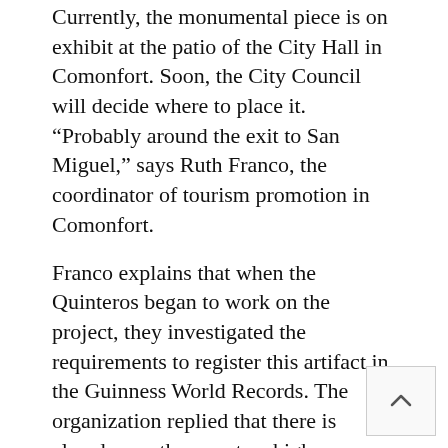Currently, the monumental piece is on exhibit at the patio of the City Hall in Comonfort. Soon, the City Council will decide where to place it. “Probably around the exit to San Miguel,” says Ruth Franco, the coordinator of tourism promotion in Comonfort.
Franco explains that when the Quinteros began to work on the project, they investigated the requirements to register this artifact in the Guinness World Records. The organization replied that there is already one three meters high somewhere in Europe.
Between working the mines, making giant molcajetes, enjoying homemade food with a good sauce, time flies.
The locals of Comonfort speak proudly of Chamac— a place with collapsed stone walls—which is how Comonfort was known in the past; when it was a town they said it is a town with stone walls. There...